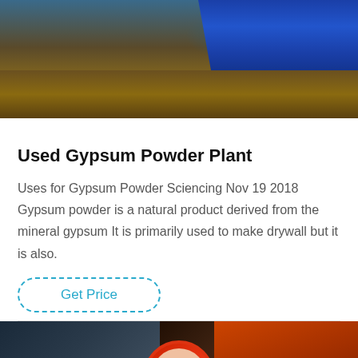[Figure (photo): Industrial facility image showing blue barrels and metal floor surfaces with brown/orange tones]
Used Gypsum Powder Plant
Uses for Gypsum Powder Sciencing Nov 19 2018 Gypsum powder is a natural product derived from the mineral gypsum It is primarily used to make drywall but it is also.
Get Price
[Figure (photo): Industrial machinery background with chat/contact interface showing Leave Message and Chat Online buttons with customer service avatar]